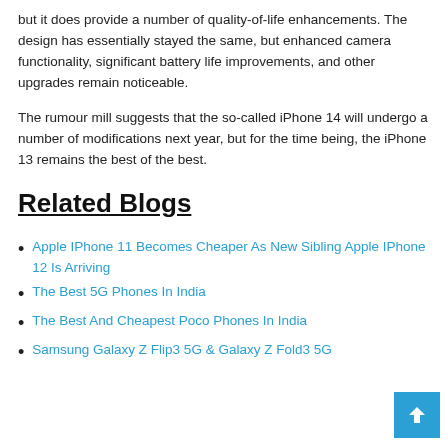but it does provide a number of quality-of-life enhancements. The design has essentially stayed the same, but enhanced camera functionality, significant battery life improvements, and other upgrades remain noticeable.
The rumour mill suggests that the so-called iPhone 14 will undergo a number of modifications next year, but for the time being, the iPhone 13 remains the best of the best.
Related Blogs
Apple IPhone 11 Becomes Cheaper As New Sibling Apple IPhone 12 Is Arriving
The Best 5G Phones In India
The Best And Cheapest Poco Phones In India
Samsung Galaxy Z Flip3 5G & Galaxy Z Fold3 5G